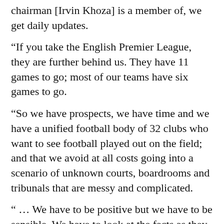chairman [Irvin Khoza] is a member of, we get daily updates.
“If you take the English Premier League, they are further behind us. They have 11 games to go; most of our teams have six games to go.
“So we have prospects, we have time and we have a unified football body of 32 clubs who want to see football played out on the field; and that we avoid at all costs going into a scenario of unknown courts, boardrooms and tribunals that are messy and complicated.
“ … We have to be positive but we have to be sensible. We have to look at the facts as they carry out.
“ … We understand the economic implications, which are negative the longer this drags out. But first and foremost we understand that lives are at stake, and that there’s a bigger picture at play, and that as much as we’re suffering the whole world is suffering.”